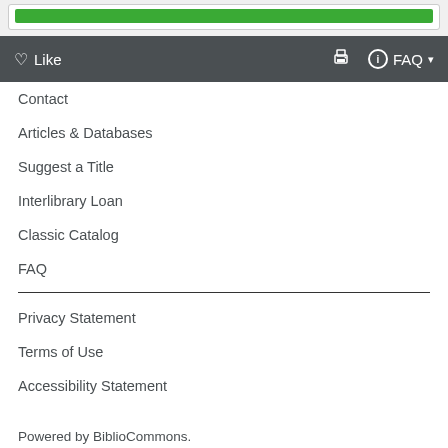[Figure (other): Green progress/status bar inside a white rounded container on a light grey background]
♡ Like    🖨   ℹ FAQ ▾
Contact
Articles & Databases
Suggest a Title
Interlibrary Loan
Classic Catalog
FAQ
Privacy Statement
Terms of Use
Accessibility Statement
Powered by BiblioCommons.
BiblioCore: app05 Version 9.9.0 Last updated 2022/08/11 13:44